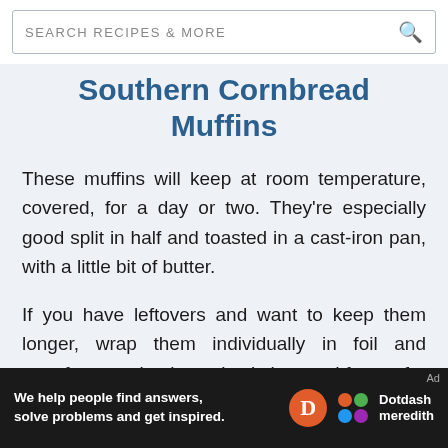SEARCH RECIPES & MORE
Southern Cornbread Muffins
These muffins will keep at room temperature, covered, for a day or two. They're especially good split in half and toasted in a cast-iron pan, with a little bit of butter.
If you have leftovers and want to keep them longer, wrap them individually in foil and transfer to a zip-close plastic bag and freeze for up to six months. Defrost them in
[Figure (other): Dotdash Meredith advertisement banner: 'We help people find answers, solve problems and get inspired.' with Dotdash Meredith logo]